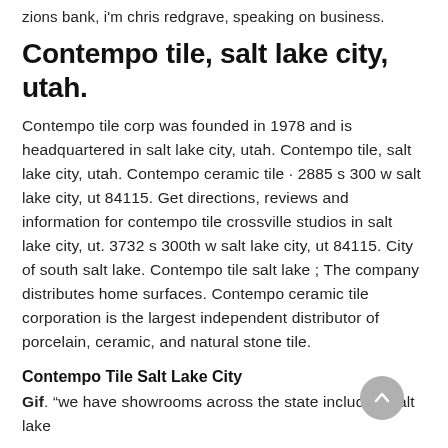zions bank, i'm chris redgrave, speaking on business.
Contempo tile, salt lake city, utah.
Contempo tile corp was founded in 1978 and is headquartered in salt lake city, utah. Contempo tile, salt lake city, utah. Contempo ceramic tile · 2885 s 300 w salt lake city, ut 84115. Get directions, reviews and information for contempo tile crossville studios in salt lake city, ut. 3732 s 300th w salt lake city, ut 84115. City of south salt lake. Contempo tile salt lake ; The company distributes home surfaces. Contempo ceramic tile corporation is the largest independent distributor of porcelain, ceramic, and natural stone tile.
Contempo Tile Salt Lake City
Gif. “we have showrooms across the state including salt lake